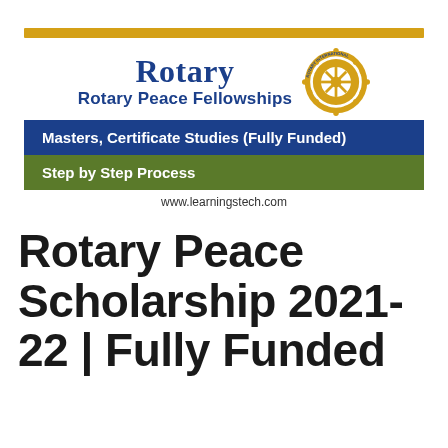[Figure (logo): Rotary Peace Fellowships banner with gold top bar, Rotary logo and name, blue banner 'Masters, Certificate Studies (Fully Funded)', green banner 'Step by Step Process', and website www.learningstech.com]
Rotary Peace Scholarship 2021-22 | Fully Funded